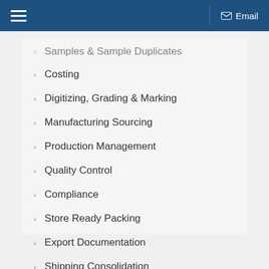Email
Samples & Sample Duplicates
Costing
Digitizing, Grading & Marking
Manufacturing Sourcing
Production Management
Quality Control
Compliance
Store Ready Packing
Export Documentation
Shipping Consolidation